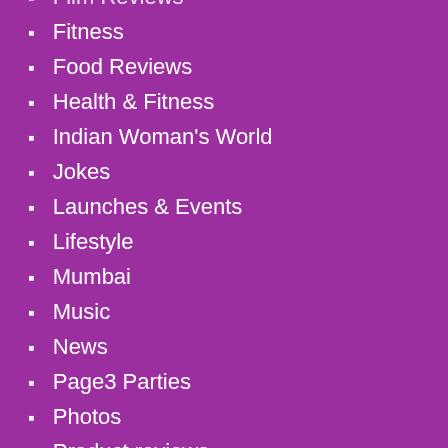Film Reviews
Fitness
Food Reviews
Health & Fitness
Indian Woman's World
Jokes
Launches & Events
Lifestyle
Mumbai
Music
News
Page3 Parties
Photos
Product reviews
Short film reviews
Singers
Sports
Style Check